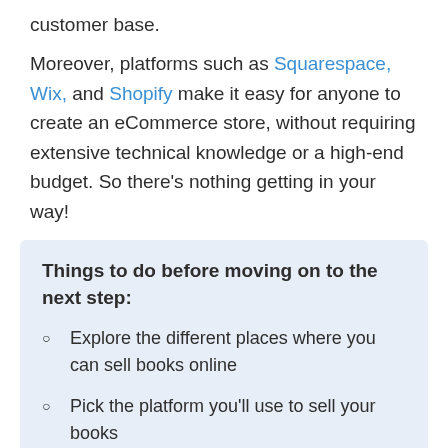customer base.
Moreover, platforms such as Squarespace, Wix, and Shopify make it easy for anyone to create an eCommerce store, without requiring extensive technical knowledge or a high-end budget. So there’s nothing getting in your way!
Things to do before moving on to the next step:
Explore the different places where you can sell books online
Pick the platform you’ll use to sell your books